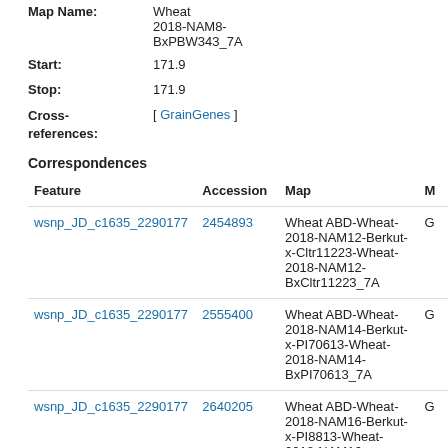Map Name: Wheat 2018-NAM8-BxPBW343_7A
Start: 171.9
Stop: 171.9
Cross-references: [ GrainGenes ]
Correspondences
| Feature | Accession | Map | M |
| --- | --- | --- | --- |
| wsnp_JD_c1635_2290177 | 2454893 | Wheat ABD-Wheat-2018-NAM12-Berkut-x-Cltr11223-Wheat-2018-NAM12-BxCltr11223_7A | G |
| wsnp_JD_c1635_2290177 | 2555400 | Wheat ABD-Wheat-2018-NAM14-Berkut-x-PI70613-Wheat-2018-NAM14-BxPI70613_7A | G |
| wsnp_JD_c1635_2290177 | 2640205 | Wheat ABD-Wheat-2018-NAM16-Berkut-x-PI8813-Wheat-2018-NAM16-BxPI8813_7A | G |
| wsnp_JD_c1635_2290177 | 2686603 | Wheat ABD-Wheat-2018-NAM17-Berkut-x-PI82469-Wheat-2018-NAM17-... | G |